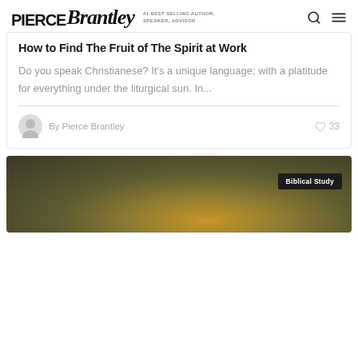Pierce Brantley — #1 Best Selling Author, Speaker, Advisor
How to Find The Fruit of The Spirit at Work
Do you speak Christianese? It's a unique language; with a platitude for everything under the liturgical sun. In...
By Pierce Brantley   ♡ 33
[Figure (photo): Olive/gold gradient background image card with 'Biblical Study' dark badge in top right]